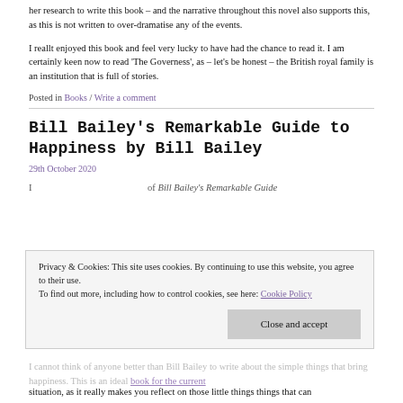her research to write this book – and the narrative throughout this novel also supports this, as this is not written to over-dramatise any of the events.
I reallt enjoyed this book and feel very lucky to have had the chance to read it. I am certainly keen now to read ‘The Governess’, as – let’s be honest – the British royal family is an institution that is full of stories.
Posted in Books / Write a comment
Bill Bailey’s Remarkable Guide to Happiness by Bill Bailey
29th October 2020
I ... (preview text partially visible)
Privacy & Cookies: This site uses cookies. By continuing to use this website, you agree to their use.
To find out more, including how to control cookies, see here: Cookie Policy
Close and accept
I cannot think of anyone better than Bill Bailey to ... simple things that bring happiness. This is an ideal book for the current situation, as it really makes you reflect on those little things things that can